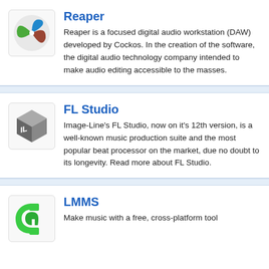[Figure (logo): Reaper DAW logo - colorful leaf/feather shape with green, blue, and red segments]
Reaper
Reaper is a focused digital audio workstation (DAW) developed by Cockos. In the creation of the software, the digital audio technology company intended to make audio editing accessible to the masses.
[Figure (logo): FL Studio logo - grey 3D cube with 'IL' text on face]
FL Studio
Image-Line's FL Studio, now on it's 12th version, is a well-known music production suite and the most popular beat processor on the market, due no doubt to its longevity. Read more about FL Studio.
[Figure (logo): LMMS logo - green horseshoe/bracket shape icon]
LMMS
Make music with a free, cross-platform tool